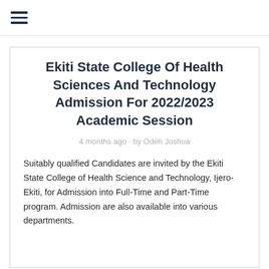≡
Ekiti State College Of Health Sciences And Technology Admission For 2022/2023 Academic Session
4 months ago · by Odeh Joshua
Suitably qualified Candidates are invited by the Ekiti State College of Health Science and Technology, Ijero-Ekiti, for Admission into Full-Time and Part-Time program. Admission are also available into various departments.